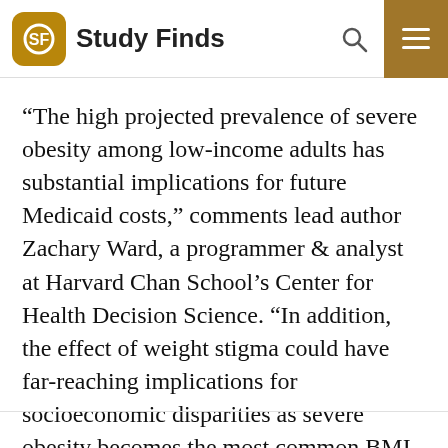Study Finds
“The high projected prevalence of severe obesity among low-income adults has substantial implications for future Medicaid costs,” comments lead author Zachary Ward, a programmer & analyst at Harvard Chan School’s Center for Health Decision Science. “In addition, the effect of weight stigma could have far-reaching implications for socioeconomic disparities as severe obesity becomes the most common BMI category among low-income adults in nearly every state.”